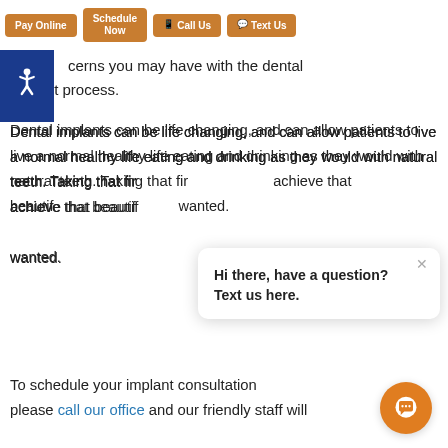[Figure (screenshot): Navigation bar with four orange buttons: Pay Online, Schedule Now, Call Us, Text Us]
treatment p.  answer any questions or cerns you may have with the dental implant process.
[Figure (logo): Blue accessibility wheelchair icon badge]
Dental implants can be life changing, and can allow patients to live a normal healthy life eating and drinking as they would with natural teeth. Taking that first step can help you achieve that beautiful smile you have always wanted.
To schedule your implant consultation please call our office and our friendly staff will
[Figure (screenshot): Chat popup with text: Hi there, have a question? Text us here. With close X button and orange chat bubble button.]